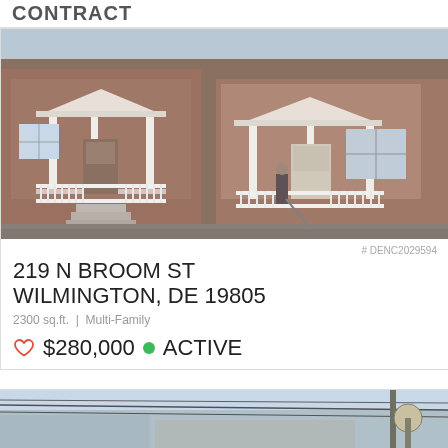CONTRACT
[Figure (photo): Exterior photo of a two-story brick row house with white porch columns and white porch railing, front steps visible]
# DENC2029594
219 N BROOM ST
WILMINGTON, DE 19805
2300 sq.ft.  |  Multi-Family
♡ $280,000 ● ACTIVE
[Figure (photo): Partial exterior photo at bottom of page, showing street-level view with utility wires]